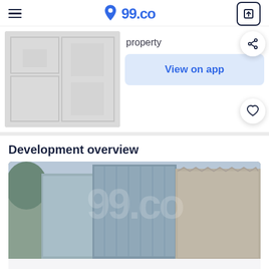99.co
[Figure (other): Blurred floor plan image shown on the left side of the upper section]
property
View on app
Development overview
[Figure (photo): Photo of tall modern glass and concrete buildings viewed from below, with 99.co watermark overlay]
This listing is no longer available